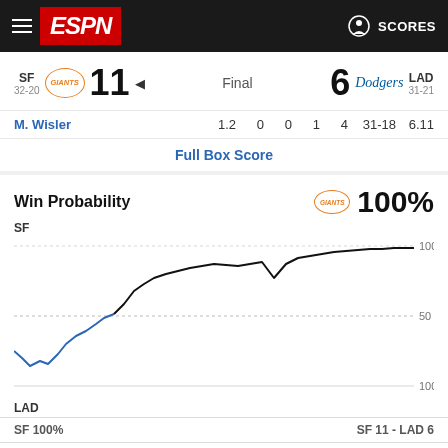ESPN SCORES
SF 32-20  GIANTS  11  Final  6  Dodgers  LAD 31-21
| Player | IP | H | R | BB | K | Record | ERA |
| --- | --- | --- | --- | --- | --- | --- | --- |
| M. Wisler | 1.2 | 0 | 0 | 1 | 4 | 31-18 | 6.11 |
Full Box Score
Win Probability   GIANTS  100%
[Figure (line-chart): Win probability chart showing SF Giants vs LAD Dodgers. SF starts low (~30%), dips further early, then climbs above 50% midgame, reaches ~90%+, dips briefly to ~75%, then climbs back to ~100% by end of game. Blue line for early SF low period, black line for high probability. Y-axis labels: 100 (top SF), 50 (middle), 100 (bottom LAD). Team labels SF (top) and LAD (bottom).]
SF 100%    SF 11 - LAD 6
Bottom 9
Bellinger struck out swinging.